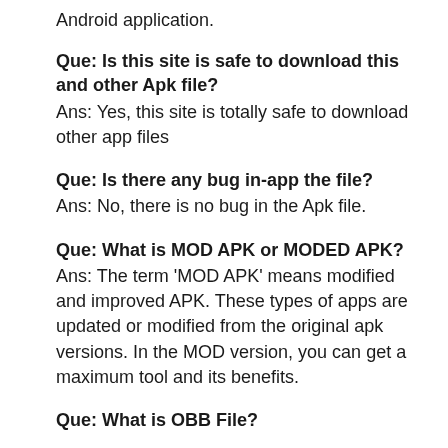Android application.
Que: Is this site is safe to download this and other Apk file?
Ans: Yes, this site is totally safe to download other app files
Que: Is there any bug in-app the file?
Ans: No, there is no bug in the Apk file.
Que: What is MOD APK or MODED APK?
Ans: The term ‘MOD APK’ means modified and improved APK. These types of apps are updated or modified from the original apk versions. In the MOD version, you can get a maximum tool and its benefits.
Que: What is OBB File?